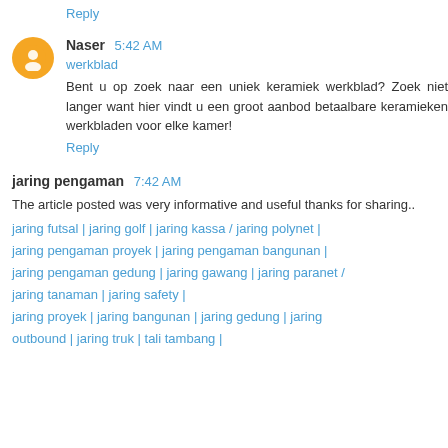Reply
Naser 5:42 AM
werkblad
Bent u op zoek naar een uniek keramiek werkblad? Zoek niet langer want hier vindt u een groot aanbod betaalbare keramieken werkbladen voor elke kamer!
Reply
jaring pengaman 7:42 AM
The article posted was very informative and useful thanks for sharing..
jaring futsal | jaring golf | jaring kassa / jaring polynet | jaring pengaman proyek | jaring pengaman bangunan | jaring pengaman gedung | jaring gawang | jaring paranet / jaring tanaman | jaring safety | jaring proyek | jaring bangunan | jaring gedung | jaring outbound | jaring truk | tali tambang |